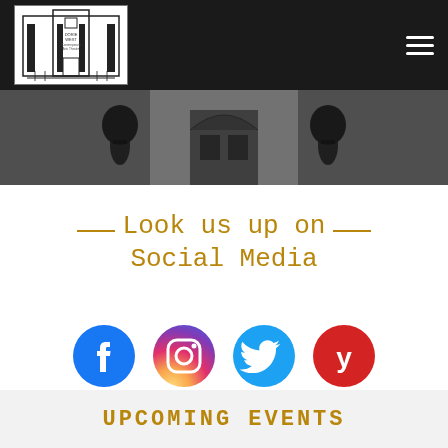[Figure (logo): Dorie West Contemporary Arts Theatre logo - black and white building illustration]
[Figure (photo): Black and white photo of theatre building exterior with decorative urns]
Look us up on Social Media
[Figure (infographic): Row of four social media icons: Facebook (blue), Instagram (pink/red gradient), Twitter (cyan), Yelp (red)]
UPCOMING EVENTS